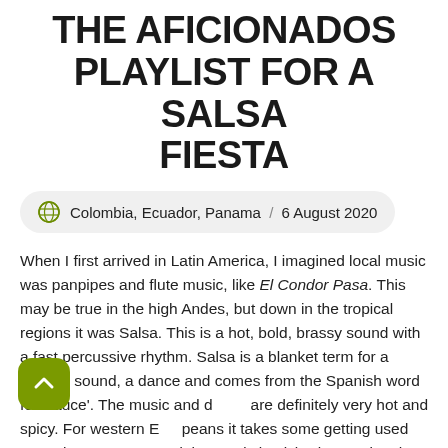THE AFICIONADOS PLAYLIST FOR A SALSA FIESTA
Colombia, Ecuador, Panama / 6 August 2020
When I first arrived in Latin America, I imagined local music was panpipes and flute music, like El Condor Pasa. This may be true in the high Andes, but down in the tropical regions it was Salsa. This is a hot, bold, brassy sound with a fast percussive rhythm. Salsa is a blanket term for a tropical sound, a dance and comes from the Spanish word for 'sauce'. The music and dance are definitely very hot and spicy. For western Europeans it takes some getting used to. Trying to understand the words is tricky, but getting the beat is the main thing.